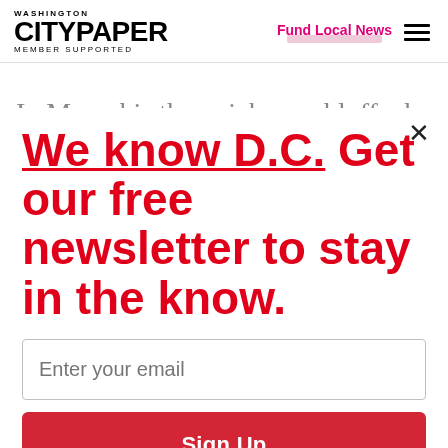WASHINGTON CITYPAPER MEMBER SUPPORTED | Fund Local News
In Memphis they pick up a bluff, cheery car…
We know D.C. Get our free newsletter to stay in the know.
Enter your email
Sign Up
Unsubscribe any time.